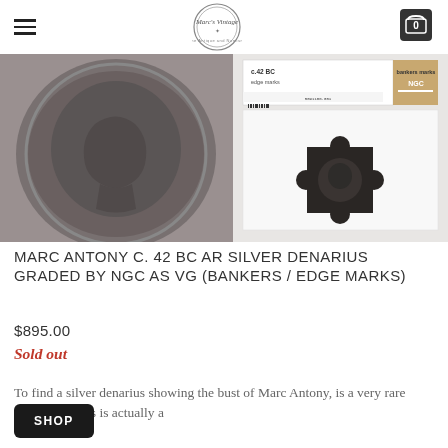Marc's Vintage — navigation header with logo and cart
[Figure (photo): Left: close-up of Marc Antony silver denarius coin obverse, showing bust, gray toned. Right: NGC certified slab holder showing coin in holder with label reading 'c.42 BC edge marks' and NGC logo, with coin reverse visible in holder.]
MARC ANTONY C. 42 BC AR SILVER DENARIUS GRADED BY NGC AS VG (BANKERS / EDGE MARKS)
$895.00
Sold out
To find a silver denarius showing the bust of Marc Antony, is a very rare discovery. This is actually a